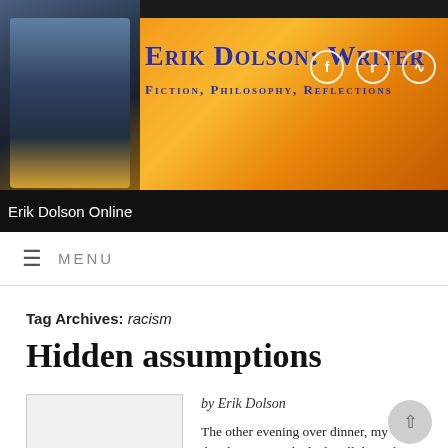[Figure (photo): Website header banner with orange/golden sky background, person in foreground on left, site title 'Erik Dolson: Writer' and subtitle 'Fiction, Philosophy, Reflections' in blue text, social media icons on right]
Erik Dolson Online
MENU
Tag Archives: racism
Hidden assumptions
by Erik Dolson
The other evening over dinner, my daughter K.C. asked why all the sailing magazines scatted around my house